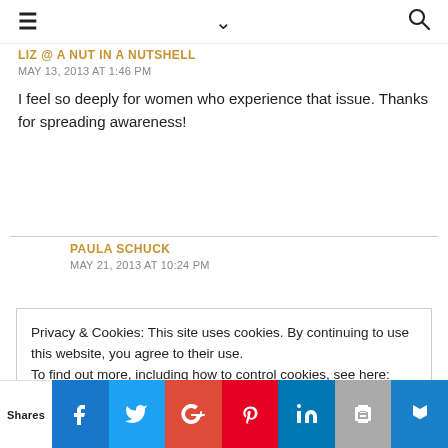≡  ∨  🔍
LIZ @ A NUT IN A NUTSHELL
MAY 13, 2013 AT 1:46 PM
I feel so deeply for women who experience that issue. Thanks for spreading awareness!
PAULA SCHUCK
MAY 21, 2013 AT 10:24 PM
Privacy & Cookies: This site uses cookies. By continuing to use this website, you agree to their use.
To find out more, including how to control cookies, see here: Cookie Policy
Shares | Facebook | Twitter | Google+ | Pinterest | LinkedIn | Print | Crown